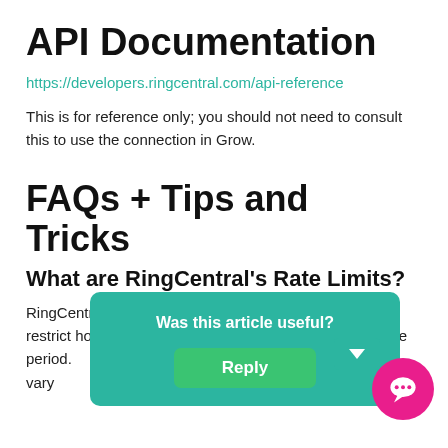API Documentation
https://developers.ringcentral.com/api-reference
This is for reference only; you should not need to consult this to use the connection in Grow.
FAQs + Tips and Tricks
What are RingCentral's Rate Limits?
RingCentral has very strict rate limits, meaning that they restrict how much data you can pull within a given time period. [overlay obscures text] your re[...] apply w[...] limits vary
[Figure (other): Teal popup overlay asking 'Was this article useful?' with a green Reply button, a teal dropdown arrow button, and a pink chat bubble icon in the bottom right corner]